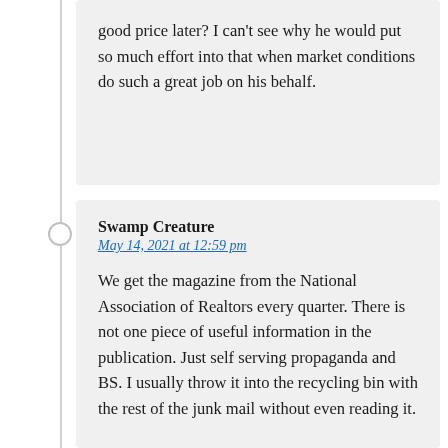good price later? I can't see why he would put so much effort into that when market conditions do such a great job on his behalf.
Swamp Creature
May 14, 2021 at 12:59 pm

We get the magazine from the National Association of Realtors every quarter. There is not one piece of useful information in the publication. Just self serving propaganda and BS. I usually throw it into the recycling bin with the rest of the junk mail without even reading it.